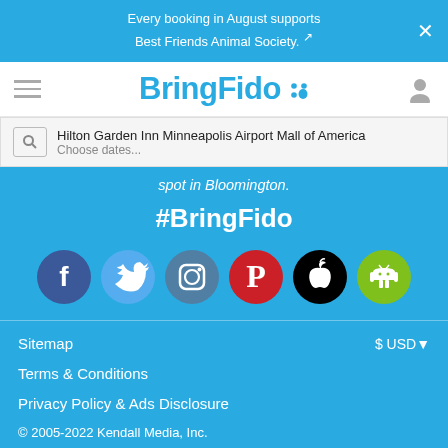Every booking in August supports Best Friends Animal Society. ↗
[Figure (logo): BringFido logo with paw print icon]
Hilton Garden Inn Minneapolis Airport Mall of America
Choose dates...
spot in Bloomington.
#BringFido
[Figure (infographic): Social media and app icons: Facebook, Twitter, Instagram, Pinterest, Apple, Android]
Sitemap
$ USD▾
Terms & Conditions
Privacy Policy & Ads Disclosure
© 2005-2022 Kendall Media, Inc.